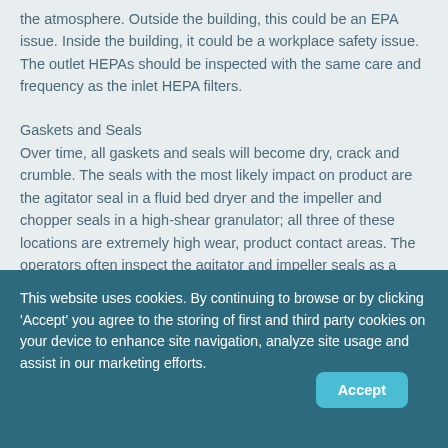the atmosphere. Outside the building, this could be an EPA issue. Inside the building, it could be a workplace safety issue. The outlet HEPAs should be inspected with the same care and frequency as the inlet HEPA filters.
Gaskets and Seals
Over time, all gaskets and seals will become dry, crack and crumble. The seals with the most likely impact on product are the agitator seal in a fluid bed dryer and the impeller and chopper seals in a high-shear granulator; all three of these locations are extremely high wear, product contact areas. The operators often inspect the agitator and impeller seals as a
This website uses cookies. By continuing to browse or by clicking 'Accept' you agree to the storing of first and third party cookies on your device to enhance site navigation, analyze site usage and assist in our marketing efforts.